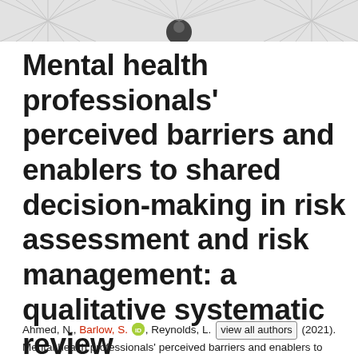[Figure (illustration): Header banner with decorative geometric/starburst pattern in light gray on white background, with a small dark circular element (person icon) near the top center.]
Mental health professionals' perceived barriers and enablers to shared decision-making in risk assessment and risk management: a qualitative systematic review
Ahmed, N., Barlow, S., Reynolds, L. view all authors (2021). Mental health professionals' perceived barriers and enablers to